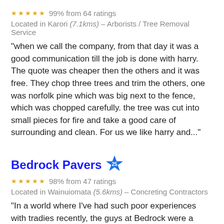★★★★★  99% from 64 ratings
Located in Karori (7.1kms) – Arborists / Tree Removal Service
"when we call the company, from that day it was a good communication till the job is done with harry. The quote was cheaper then the others and it was free. They chop three trees and trim the others, one was norfolk pine which was big next to the fence, which was chopped carefully. the tree was cut into small pieces for fire and take a good care of surrounding and clean. For us we like harry and..."
Bedrock Pavers
★★★★★  98% from 47 ratings
Located in Wainuiomata (5.6kms) – Concreting Contractors
"In a world where I've had such poor experiences with tradies recently, the guys at Bedrock were a refreshing change. Ned leads a fantastic team and really makes sure you are communicated and listened to. The workmanship is great and they are really easy to get on with, the..."